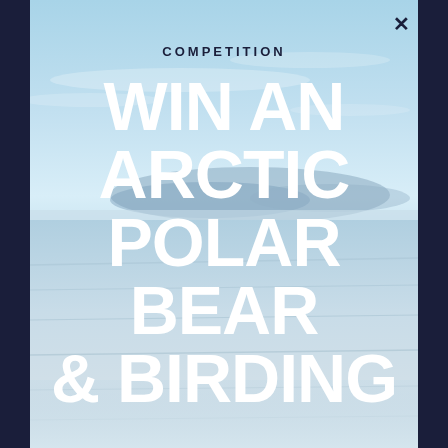[Figure (photo): Arctic seascape background with pale blue sky, distant mountain silhouette, and icy water/fog in the foreground. Dark navy side panels flank the central image. A close (×) button appears top-right.]
COMPETITION
WIN AN ARCTIC POLAR BEAR & BIRDING EXPEDITION!